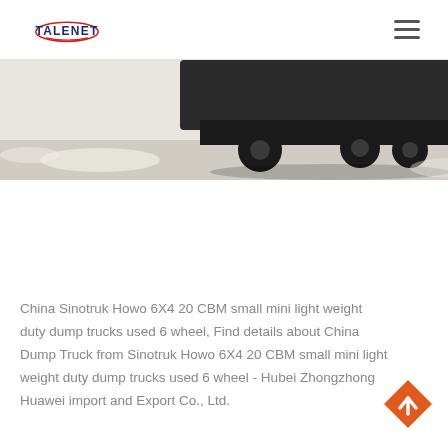TALENET
[Figure (photo): Partial view of a Sinotruk Howo dump truck, showing the undercarriage and wheels from a low angle against a light background.]
China Sinotruk Howo 6X4 20 CBM small mini light weight duty dump trucks used 6 wheel, Find details about China Dump Truck from Sinotruk Howo 6X4 20 CBM small mini light weight duty dump trucks used 6 wheel - Hubei Zhongzhong Huawei import and Export Co., Ltd.